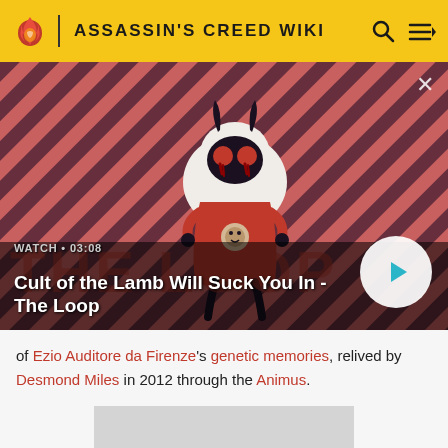ASSASSIN'S CREED WIKI
[Figure (screenshot): Video thumbnail showing animated character from Cult of the Lamb on a striped red/dark background. Text overlay reads: WATCH • 03:08 / Cult of the Lamb Will Suck You In - The Loop. A circular play button is on the right.]
of Ezio Auditore da Firenze's genetic memories, relived by Desmond Miles in 2012 through the Animus.
[Figure (photo): Gray placeholder image at bottom of page]